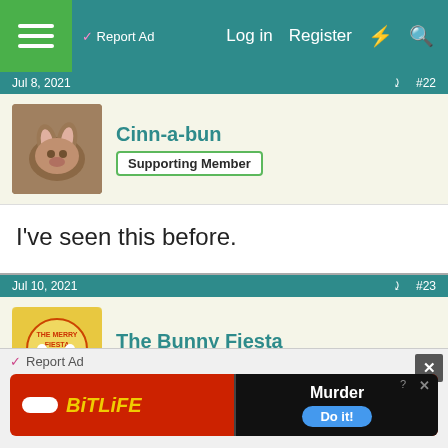Report Ad | Log in | Register
Jul 8, 2021   #22
Cinn-a-bun
Supporting Member
I've seen this before.
Jul 10, 2021   #23
The Bunny Fiesta
Member
[Figure (screenshot): Video thumbnail showing 'Bunnies Eat Burgers for the 4th ...' with text 'Bunny 4th of July Party' in yellow-green on dark blue background with fireworks]
Report Ad | BitLife | Murder Do it!